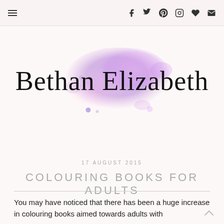Bethan Elizabeth blog header with navigation menu icon and social icons: Facebook, Twitter, Pinterest, Instagram, heart, email
[Figure (logo): Blog logo: 'Bethan Elizabeth' in cursive script over a watercolor purple/pink blob]
17 AUGUST 2015
COLOURING BOOKS FOR ADULTS
You may have noticed that there has been a huge increase in colouring books aimed towards adults with